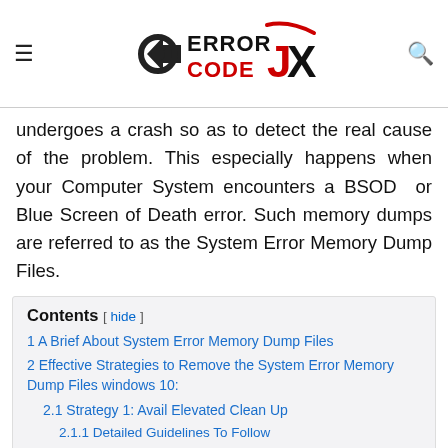Error Code JX — site header with hamburger menu and search icon
undergoes a crash so as to detect the real cause of the problem. This especially happens when your Computer System encounters a BSOD or Blue Screen of Death error. Such memory dumps are referred to as the System Error Memory Dump Files.
Contents [ hide ]
1 A Brief About System Error Memory Dump Files
2 Effective Strategies to Remove the System Error Memory Dump Files windows 10:
2.1 Strategy 1: Avail Elevated Clean Up
2.1.1 Detailed Guidelines To Follow